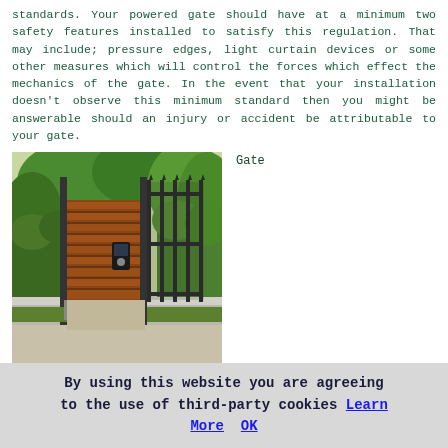standards. Your powered gate should have at a minimum two safety features installed to satisfy this regulation. That may include; pressure edges, light curtain devices or some other measures which will control the forces which effect the mechanics of the gate. In the event that your installation doesn't observe this minimum standard then you might be answerable should an injury or accident be attributable to your gate.
[Figure (photo): Photo of a wooden horizontal-slat powered gate with black metal fence posts and surrounding garden greenery. A keypad/access control device is visible on the gate post.]
Gate
installation contractors in Axminster might be affiliated with any of several recognised professional bodies, and if
By using this website you are agreeing to the use of third-party cookies Learn More  OK